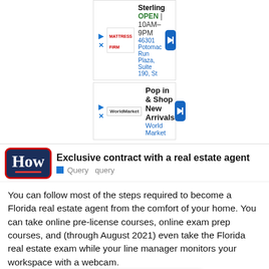[Figure (screenshot): Ad banner: Mattress Firm — Sterling, OPEN 10AM-9PM, 46301 Potomac Run Plaza, Suite 190, St. Navigation arrow icon on right.]
[Figure (screenshot): Ad banner: Pop in & Shop New Arrivals — World Market. Navigation arrow icon on right.]
Exclusive contract with a real estate agent
Query  query
You can follow most of the steps required to become a Florida real estate agent from the comfort of your home. You can take online pre-license courses, online exam prep courses, and (through August 2021) even take the Florida real estate exam while your line manager monitors your workspace with a webcam.
g does it take to become a licensed te agent?
Does it Take to Become a Florida Licensed Broker? It takes ab... in Florida.
[Figure (screenshot): Overlapping ad popup: Pop in & Shop New Arrivals — World Market with navigation arrow. D i.. | Spons overlay visible.]